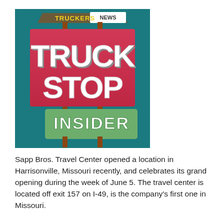[Figure (logo): Truckers News Truck Stop Insider logo sign — a retro roadside sign design with 'TRUCKERS NEWS' at top, large pink/magenta sign reading 'TRUCK STOP' in bold 3D letters, and a green lower sign reading 'INSIDER', all on a teal/dark background.]
Sapp Bros. Travel Center opened a location in Harrisonville, Missouri recently, and celebrates its grand opening during the week of June 5. The travel center is located off exit 157 on I-49, is the company's first one in Missouri.